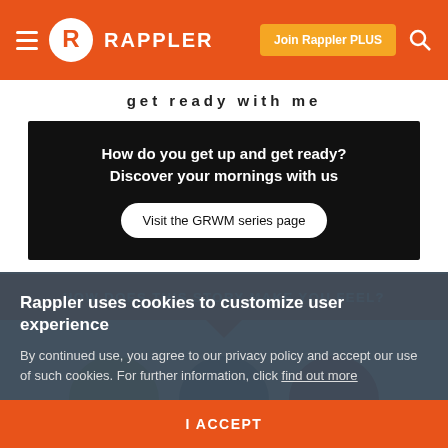RAPPLER
get ready with me
[Figure (infographic): Black promotional box with text 'How do you get up and get ready? Discover your mornings with us' and a button 'Visit the GRWM series page']
HOW DOES THIS STORY MAKE YOU FEEL?
[Figure (infographic): Three mood circles labeled Happy (green), Sad (blue-grey), Angry (red)]
Rappler uses cookies to customize user experience
By continued use, you agree to our privacy policy and accept our use of such cookies. For further information, click find out more
I ACCEPT